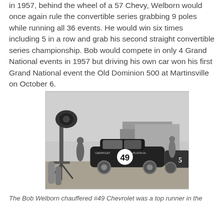in 1957, behind the wheel of a 57 Chevy, Welborn would once again rule the convertible series grabbing 9 poles while running all 36 events. He would win six times including 5 in a row and grab his second straight convertible series championship. Bob would compete in only 4 Grand National events in 1957 but driving his own car won his first Grand National event the Old Dominion 500 at Martinsville on October 6.
[Figure (photo): Black and white photograph of the Bob Welborn #49 Chevrolet race car at a pit or paddock area, with a large camera or spotlight equipment on a stand in the foreground left, crew members visible, and other vehicles in the background.]
The Bob Welborn chauffered #49 Chevrolet was a top runner in the